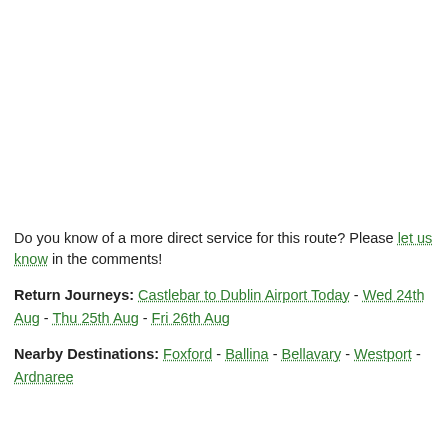Do you know of a more direct service for this route? Please let us know in the comments!
Return Journeys: Castlebar to Dublin Airport Today - Wed 24th Aug - Thu 25th Aug - Fri 26th Aug
Nearby Destinations: Foxford - Ballina - Bellavary - Westport - Ardnaree